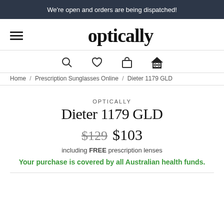We're open and orders are being dispatched!
optically
Home / Prescription Sunglasses Online / Dieter 1179 GLD
OPTICALLY
Dieter 1179 GLD
$129 $103
including FREE prescription lenses
Your purchase is covered by all Australian health funds.